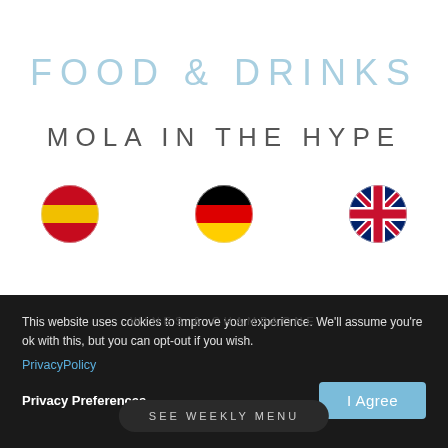FOOD & DRINKS
MOLA IN THE HYPE
[Figure (illustration): Three circular flag icons side by side: Spain flag, Germany flag, UK flag]
This website uses cookies to improve your experience. We'll assume you're ok with this, but you can opt-out if you wish.
PrivacyPolicy
Privacy Preferences
I Agree